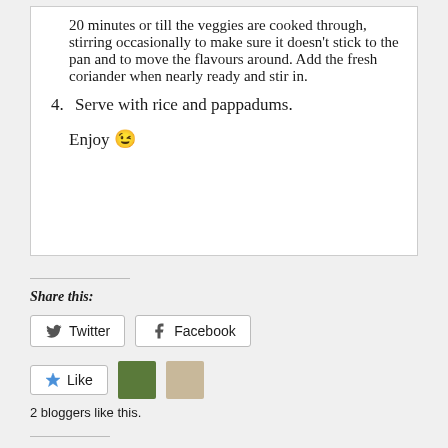20 minutes or till the veggies are cooked through, stirring occasionally to make sure it doesn't stick to the pan and to move the flavours around. Add the fresh coriander when nearly ready and stir in.
4. Serve with rice and pappadums.
Enjoy 😉
Share this:
[Figure (screenshot): Twitter and Facebook share buttons]
[Figure (screenshot): Like button with 2 blogger avatars]
2 bloggers like this.